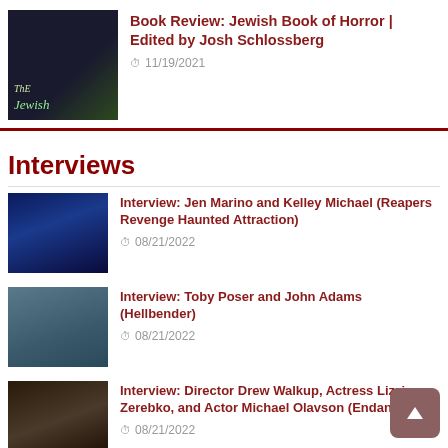[Figure (photo): Book cover for The Jewish Book of Horror, dark green/black tones with monster illustration]
Book Review: Jewish Book of Horror | Edited by Josh Schlossberg
11/19/2021
Interviews
[Figure (photo): Blue-tinted horror face, sinister looking character]
Interview: Jen Marino and Kelley Michael (Reapers Revenge Haunted Attraction)
08/21/2022
[Figure (photo): Selfie of two people (man and woman) outdoors]
Interview: Toby Poser and John Adams (Hellbender)
08/21/2022
[Figure (photo): Dark scene with a woman's face lit dramatically]
Interview: Director Drew Walkup, Actress Lizzie Zerebko, and Actor Michael Olavson (Endangered)
08/21/2022
[Figure (photo): Dimly lit scene, horror atmosphere]
Interview: Abby Howard and Tony Arias (Slay the Princess Game)